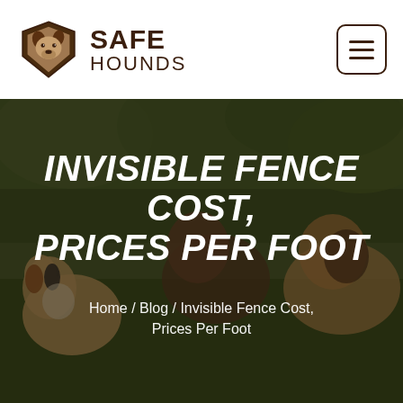[Figure (logo): Safe Hounds logo: dog head in geometric shield shape with text SAFE HOUNDS]
[Figure (photo): Background photo of dogs sitting on grass, dark overlay. Hero banner for article about invisible fence cost prices per foot.]
INVISIBLE FENCE COST, PRICES PER FOOT
Home / Blog / Invisible Fence Cost, Prices Per Foot